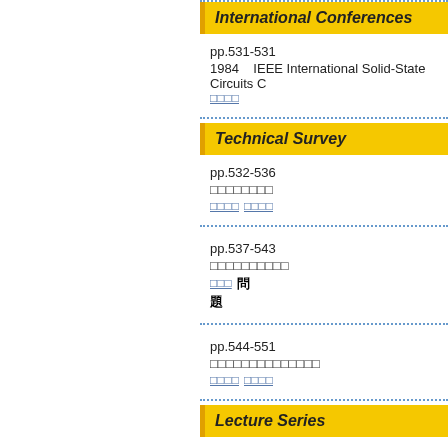International Conferences
pp.531-531
1984    IEEE International Solid-State Circuits C
□□□□
Technical Survey
pp.532-536
□□□□□□□□
□□□□ □□□□
pp.537-543
□□□□□□□□□□
□□□ 問題
pp.544-551
□□□□□□□□□□□□□□
□□□□ □□□□
Lecture Series